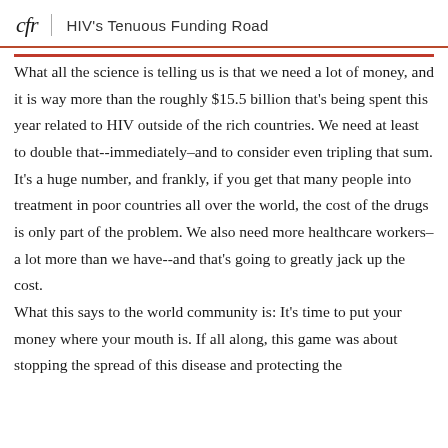cfr | HIV's Tenuous Funding Road
What all the science is telling us is that we need a lot of money, and it is way more than the roughly $15.5 billion that's being spent this year related to HIV outside of the rich countries. We need at least to double that--immediately–and to consider even tripling that sum. It's a huge number, and frankly, if you get that many people into treatment in poor countries all over the world, the cost of the drugs is only part of the problem. We also need more healthcare workers–a lot more than we have--and that's going to greatly jack up the cost.
What this says to the world community is: It's time to put your money where your mouth is. If all along, this game was about stopping the spread of this disease and protecting the